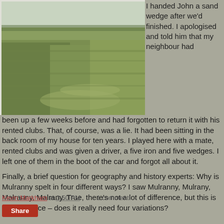[Figure (photo): Golf course landscape showing fairway with green grass and rough, wide angle view]
I handed John a sand wedge after we'd finished. I apologised and told him that my neighbour had been up a few weeks before and had forgotten to return it with his rented clubs. That, of course, was a lie. It had been sitting in the back room of my house for ten years. I played here with a mate, rented clubs and was given a driver, a five iron and five wedges. I left one of them in the boot of the car and forgot all about it.
Finally, a brief question for geography and history experts: Why is Mulranny spelt in four different ways? I saw Mulranny, Mulrany, Malranny, Malrany. True, there's not a lot of difference, but this is a small place – does it really need four variations?
Kevin Markham at 3:50 PM   1 comment:
Share